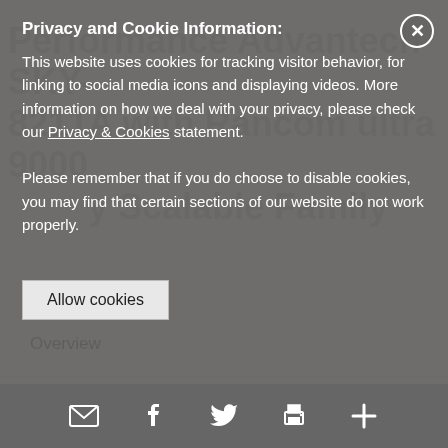Performance Advantech SKY-8211A with Rancom ultra 9000 y Scalable Family
Privacy and Cookie Information: This website uses cookies for tracking visitor behavior, for linking to social media icons and displaying videos. More information on how we deal with your privacy, please check our Privacy & Cookies statement.
Please remember that if you do choose to disable cookies, you may find that certain sections of our website do not work properly.
Allow cookies
Overview
Introduction
Intel® Select Solutions
System Overview & Data Flows
Email | Facebook | Twitter | Print | More